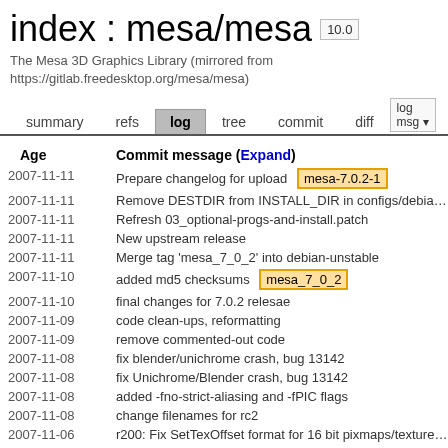index : mesa/mesa  10.0
The Mesa 3D Graphics Library (mirrored from https://gitlab.freedesktop.org/mesa/mesa)
summary   refs   log   tree   commit   diff   log msg
| Age | Commit message (Expand) |
| --- | --- |
| 2007-11-11 | Prepare changelog for upload  [mesa-7.0.2-1] |
| 2007-11-11 | Remove DESTDIR from INSTALL_DIR in configs/debia... |
| 2007-11-11 | Refresh 03_optional-progs-and-install.patch |
| 2007-11-11 | New upstream release |
| 2007-11-11 | Merge tag 'mesa_7_0_2' into debian-unstable |
| 2007-11-10 | added md5 checksums  [mesa_7_0_2] |
| 2007-11-10 | final changes for 7.0.2 relesae |
| 2007-11-09 | code clean-ups, reformatting |
| 2007-11-09 | remove commented-out code |
| 2007-11-08 | fix blender/unichrome crash, bug 13142 |
| 2007-11-08 | fix Unichrome/Blender crash, bug 13142 |
| 2007-11-08 | added -fno-strict-aliasing and -fPIC flags |
| 2007-11-08 | change filenames for rc2 |
| 2007-11-06 | r200: Fix SetTexOffset format for 16 bit pixmaps/texture... |
| 2007-11-06 | r200: Implement SetTexOffset hook. |
| 2007-11-05 | ... |